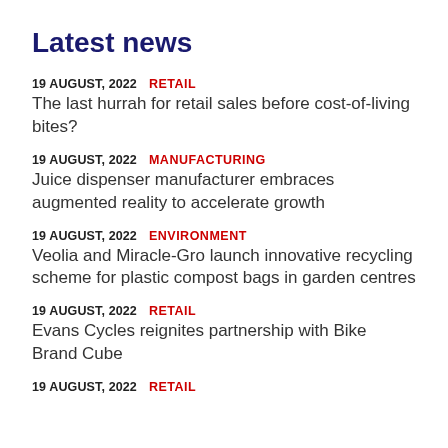Latest news
19 AUGUST, 2022  RETAIL
The last hurrah for retail sales before cost-of-living bites?
19 AUGUST, 2022  MANUFACTURING
Juice dispenser manufacturer embraces augmented reality to accelerate growth
19 AUGUST, 2022  ENVIRONMENT
Veolia and Miracle-Gro launch innovative recycling scheme for plastic compost bags in garden centres
19 AUGUST, 2022  RETAIL
Evans Cycles reignites partnership with Bike Brand Cube
19 AUGUST, 2022  RETAIL